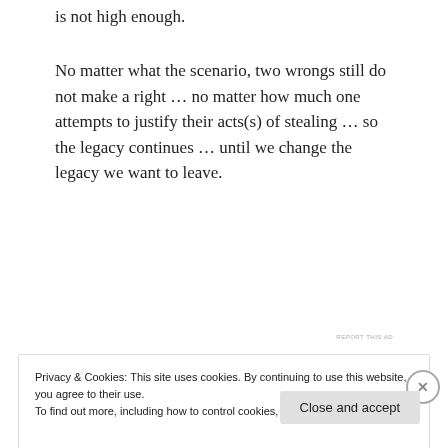is not high enough.
No matter what the scenario, two wrongs still do not make a right … no matter how much one attempts to justify their acts(s) of stealing … so the legacy continues … until we change the legacy we want to leave.
[Figure (other): Advertisement banner: dark navy background with bonsai tree logo icon, teal text 'Launch your online course with WordPress', white 'Learn More' button link]
REPORT THIS AD
Privacy & Cookies: This site uses cookies. By continuing to use this website, you agree to their use.
To find out more, including how to control cookies, see here: Cookie Policy
Close and accept